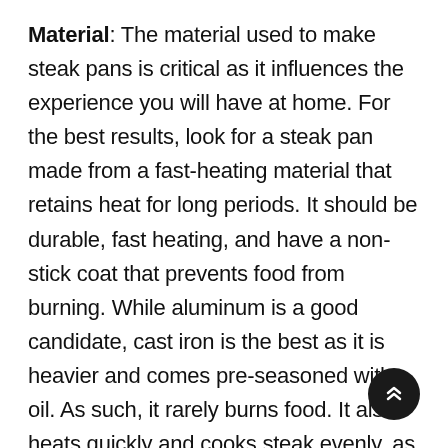Material: The material used to make steak pans is critical as it influences the experience you will have at home. For the best results, look for a steak pan made from a fast-heating material that retains heat for long periods. It should be durable, fast heating, and have a non-stick coat that prevents food from burning. While aluminum is a good candidate, cast iron is the best as it is heavier and comes pre-seasoned with oil. As such, it rarely burns food. It also heats quickly and cooks steak evenly, as its rough structure retains heat longer than aluminum.